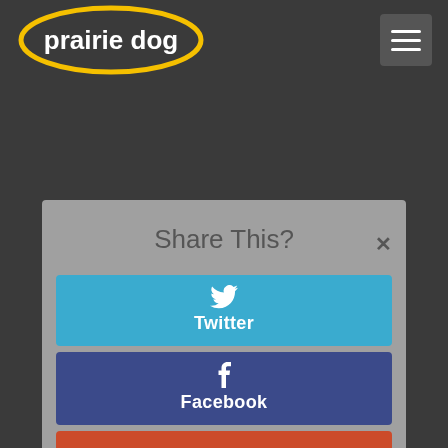[Figure (logo): Prairie Dog logo: white text 'prairie dog' inside a yellow oval on dark background]
[Figure (other): Hamburger menu button (three horizontal white lines on grey square)]
Share This?
Twitter
Facebook
reddit